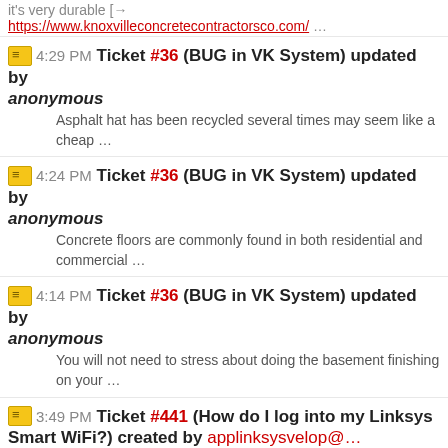it's very durable [→
https://www.knoxvilleconcretecontractorsco.com/ …
4:29 PM Ticket #36 (BUG in VK System) updated by anonymous
Asphalt hat has been recycled several times may seem like a cheap …
4:24 PM Ticket #36 (BUG in VK System) updated by anonymous
Concrete floors are commonly found in both residential and commercial …
4:14 PM Ticket #36 (BUG in VK System) updated by anonymous
You will not need to stress about doing the basement finishing on your …
3:49 PM Ticket #441 (How do I log into my Linksys Smart WiFi?) created by applinksysvelop@…
Linksys Velop is an award-winning router with intelligent mesh …
3:00 PM Ticket #34 (Trying to find a reliable writing service?) updated by KaylumBolton30042@…